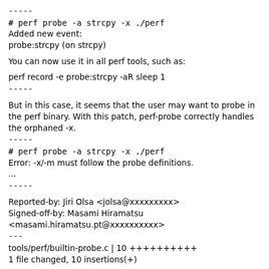-----
# perf probe -a strcpy -x ./perf
Added new event:
probe:strcpy (on strcpy)
You can now use it in all perf tools, such as:
perf record -e probe:strcpy -aR sleep 1
-----
But in this case, it seems that the user may want to probe in the perf binary. With this patch, perf-probe correctly handles the orphaned -x.
-----
# perf probe -a strcpy -x ./perf
Error: -x/-m must follow the probe definitions.
...
-----
Reported-by: Jiri Olsa <jolsa@xxxxxxxxx>
Signed-off-by: Masami Hiramatsu
<masami.hiramatsu.pt@xxxxxxxxxx>
---
tools/perf/builtin-probe.c | 10 ++++++++++
1 file changed, 10 insertions(+)